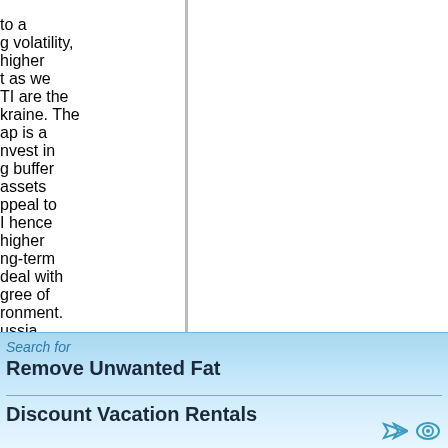to a g volatility, higher t as we TI are the kraine. The ap is a nvest in g buffer assets ppeal to I hence higher ng-term deal with gree of ronment. ussia,
Search for Remove Unwanted Fat Discount Vacation Rentals